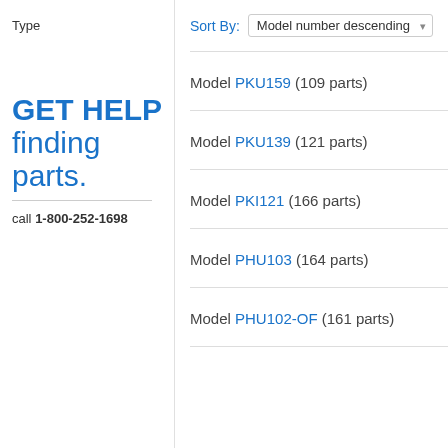Type
GET HELP finding parts.
call 1-800-252-1698
Sort By: Model number descending
Model PKU159 (109 parts)
Model PKU139 (121 parts)
Model PKI121 (166 parts)
Model PHU103 (164 parts)
Model PHU102-OF (161 parts)